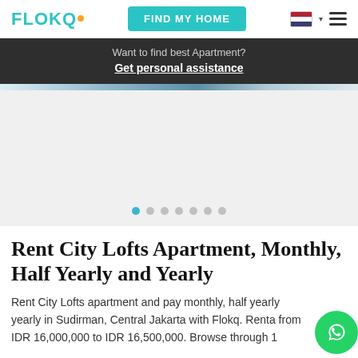FLOKQ | FIND MY HOME
Want to find best Apartment? Get personal assistance
[Figure (photo): Apartment image strip at top of carousel]
[Figure (other): Image carousel with 7 dot indicators, first dot active]
Rent City Lofts Apartment, Monthly, Half Yearly and Yearly
Rent City Lofts apartment and pay monthly, half yearly yearly in Sudirman, Central Jakarta with Flokq. Renta from IDR 16,000,000 to IDR 16,500,000. Browse through 1